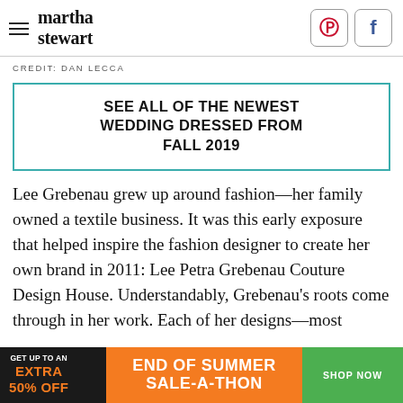martha stewart
CREDIT: DAN LECCA
SEE ALL OF THE NEWEST WEDDING DRESSED FROM FALL 2019
Lee Grebenau grew up around fashion—her family owned a textile business. It was this early exposure that helped inspire the fashion designer to create her own brand in 2011: Lee Petra Grebenau Couture Design House. Understandably, Grebenau's roots come through in her work. Each of her designs—most
[Figure (screenshot): Advertisement banner: GET UP TO AN EXTRA 50% OFF | END OF SUMMER SALE-A-THON | SHOP NOW]